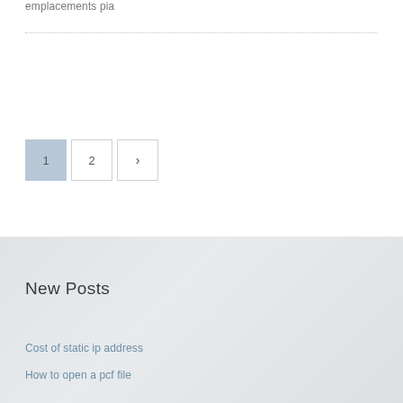emplacements pia
1  2  >
New Posts
Cost of static ip address
How to open a pcf file